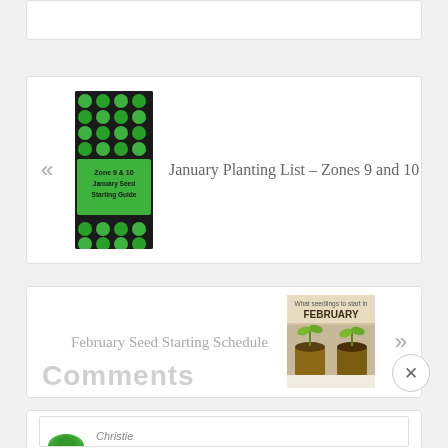[Figure (screenshot): Partial top navigation card, white background with border]
[Figure (screenshot): Navigation card with thumbnail of Zone 9 & 10 January Seed Starting Guide and link text]
January Planting List – Zones 9 and 10
[Figure (screenshot): Navigation card with February Seed Starting Schedule link and seedling thumbnail]
February Seed Starting Schedule
[Figure (screenshot): Partial bottom card]
Comments
[Figure (screenshot): Comment box with avatar and Christie name label]